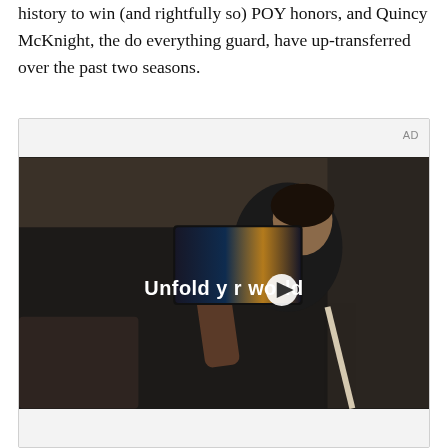history to win (and rightfully so) POY honors, and Quincy McKnight, the do everything guard, have up-transferred over the past two seasons.
[Figure (screenshot): Video advertisement showing a woman in a car holding up a foldable smartphone. Text overlay reads 'Unfold your world' with a play button. AD label in top right corner.]